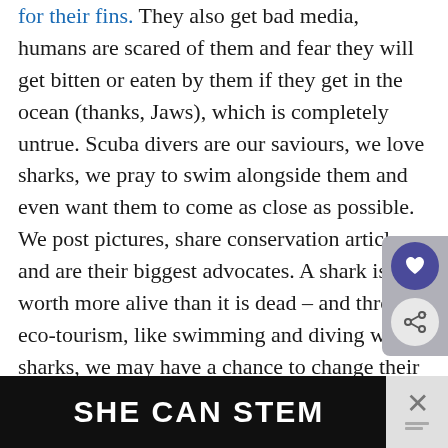for their fins. They also get bad media, humans are scared of them and fear they will get bitten or eaten by them if they get in the ocean (thanks, Jaws), which is completely untrue. Scuba divers are our saviours, we love sharks, we pray to swim alongside them and even want them to come as close as possible. We post pictures, share conservation articles and are their biggest advocates. A shark is worth more alive than it is dead – and through eco-tourism, like swimming and diving with sharks, we may have a chance to change their destiny. Most divers are not lucky to come close enough to sharks
[Figure (screenshot): UI overlay buttons: a dark gray panel on the right side containing a purple circle with a heart icon and a light gray circle with a share icon]
[Figure (screenshot): Bottom advertisement banner with black background reading 'SHE CAN STEM' in bold white text, with an X close button on the right]